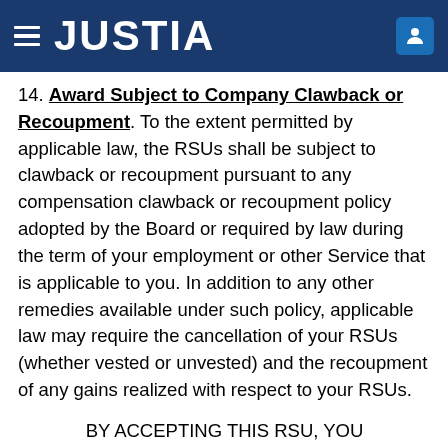JUSTIA
14. Award Subject to Company Clawback or Recoupment. To the extent permitted by applicable law, the RSUs shall be subject to clawback or recoupment pursuant to any compensation clawback or recoupment policy adopted by the Board or required by law during the term of your employment or other Service that is applicable to you. In addition to any other remedies available under such policy, applicable law may require the cancellation of your RSUs (whether vested or unvested) and the recoupment of any gains realized with respect to your RSUs.
BY ACCEPTING THIS RSU, YOU AGREE TO ALL OF THE TERMS AND CONDITIONS DESCRIBED ABOVE AND IN THE PLAN.